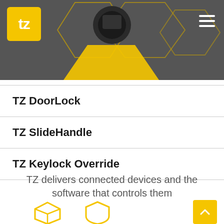[Figure (screenshot): Website header with gray background, TZ yellow logo in top-left, hamburger menu icon top-right, and decorative hexagon shapes with a dark device product visible]
TZ DoorLock
TZ SlideHandle
TZ Keylock Override
TZ delivers connected devices and the software that controls them
[Figure (illustration): Yellow icon illustrations at the bottom of the page]